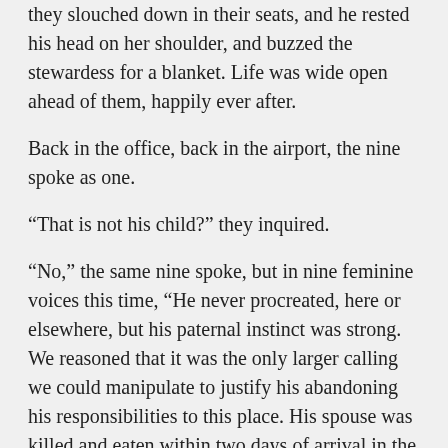they slouched down in their seats, and he rested his head on her shoulder, and buzzed the stewardess for a blanket. Life was wide open ahead of them, happily ever after.
Back in the office, back in the airport, the nine spoke as one.
“That is not his child?” they inquired.
“No,” the same nine spoke, but in nine feminine voices this time, “He never procreated, here or elsewhere, but his paternal instinct was strong. We reasoned that it was the only larger calling we could manipulate to justify his abandoning his responsibilities to this place. His spouse was killed and eaten within two days of arrival in the terminal. The child is likewise not related to either of them.”
“Excellent, A good call,” the same nine bodies spoke, again in men’s voices. “You have arranged for their re-integration in to society?”
“Indeed,” the nine spoke in women’s voices, “They have been given false memories of their lives together, bad memories that will bond them and prevent them from going back to revisit their old homes and discovering the inherent falsehood of their thoughts”